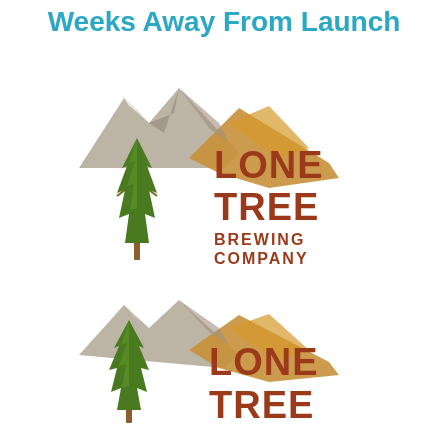Weeks Away From Launch
[Figure (logo): Lone Tree Brewing Company logo — full version with mountain, tree, and text 'LONE TREE BREWING COMPANY']
[Figure (logo): Lone Tree Brewing Company logo — partial/cropped version showing mountain, tree, and partial text 'LONE TREE']